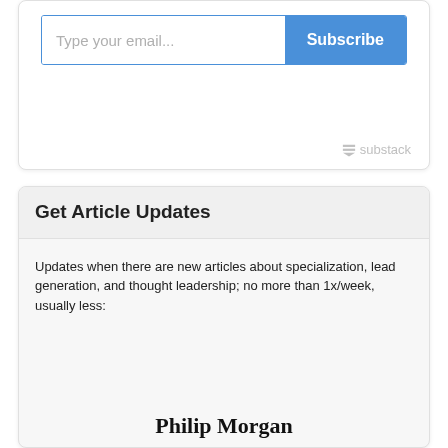[Figure (screenshot): Email subscription widget with text input placeholder 'Type your email...' and a blue 'Subscribe' button, with Substack branding logo at bottom right]
Get Article Updates
Updates when there are new articles about specialization, lead generation, and thought leadership; no more than 1x/week, usually less:
Philip Morgan